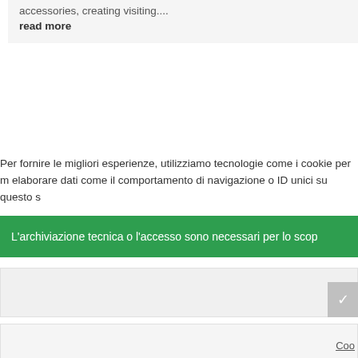accessories, creating visiting....
read more
Per fornire le migliori esperienze, utilizziamo tecnologie come i cookie per m elaborare dati come il comportamento di navigazione o ID unici su questo s
L'archiviazione tecnica o l'accesso sono necessari per lo scop
Coo